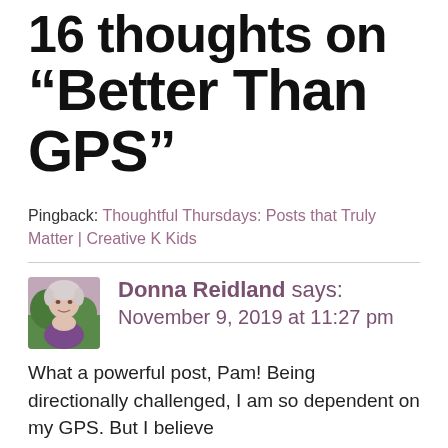16 thoughts on “Better Than GPS”
Pingback: Thoughtful Thursdays: Posts that Truly Matter | Creative K Kids
Donna Reidland says:
November 9, 2019 at 11:27 pm
What a powerful post, Pam! Being directionally challenged, I am so dependent on my GPS. But I believe